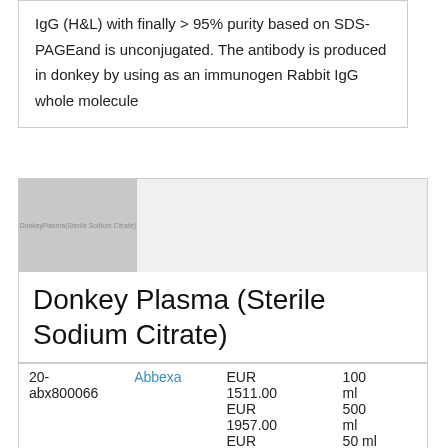IgG (H&L) with finally > 95% purity based on SDS-PAGEand is unconjugated. The antibody is produced in donkey by using as an immunogen Rabbit IgG whole molecule
[Figure (photo): Product image placeholder for Donkey Plasma (Sterile Sodium Citrate) shown as gray square with watermark text]
Donkey Plasma (Sterile Sodium Citrate)
|  |  |  |  |
| --- | --- | --- | --- |
| 20-abx800066 | Abbexa | EUR 1511.00
EUR 1957.00
EUR 1052.00 | 100 ml
500 ml
50 ml |